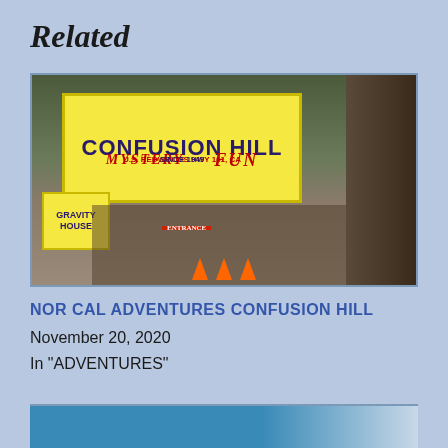Related
[Figure (photo): Photo of Confusion Hill Mystery Fun attraction entrance. A large yellow banner sign reads 'CONFUSION HILL MYSTERY FUN U.S. Redwoods HWY 101, CA SINCE 1949'. A smaller yellow sign reads 'GRAVITY HOUSE'. Chain-link fence entrance gate with orange traffic cones visible. Large redwood tree trunk on right side.]
NOR CAL ADVENTURES CONFUSION HILL
November 20, 2020
In "ADVENTURES"